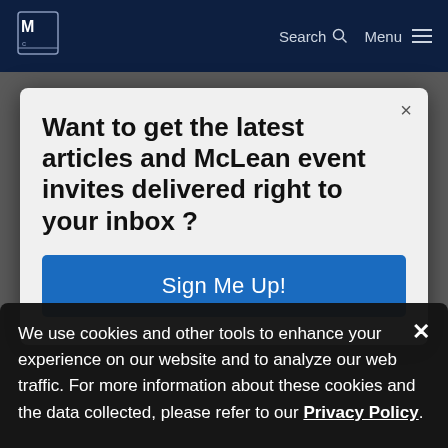McLean Hospital — Search | Menu
Want to get the latest articles and McLean event invites delivered right to your inbox ?
Sign Me Up!
We use cookies and other tools to enhance your experience on our website and to analyze our web traffic. For more information about these cookies and the data collected, please refer to our Privacy Policy.